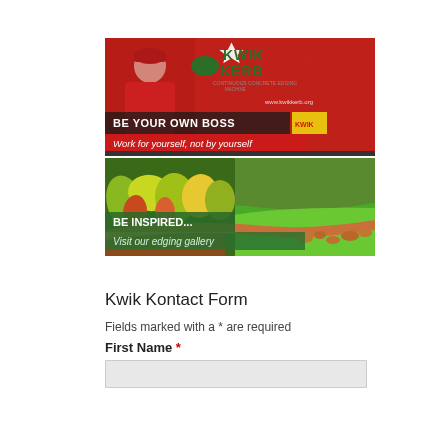[Figure (photo): Kwik Kerb franchise promotional banner showing a person in red uniform standing next to a red Kwik Kerb machine/truck. Text overlays read 'BE YOUR OWN BOSS', 'Work for yourself, not by yourself', and 'GARDEN EDGER'. The Kwik Kerb logo and website url are visible.]
[Figure (photo): Garden edging photo showing curved concrete kerb edging separating lush green lawn from a colorful garden bed with plants and mulch. Text overlays read 'BE INSPIRED...' and 'Visit our edging gallery'.]
Kwik Kontact Form
Fields marked with a * are required
First Name *